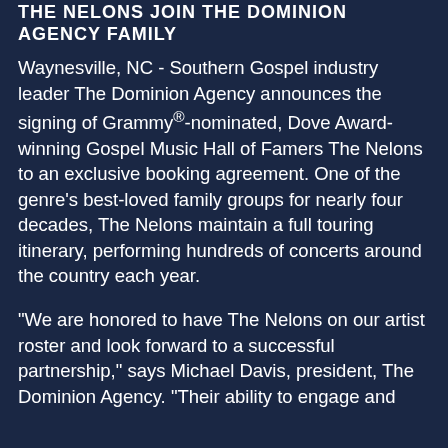THE NELONS JOIN THE DOMINION AGENCY FAMILY
Waynesville, NC - Southern Gospel industry leader The Dominion Agency announces the signing of Grammy®-nominated, Dove Award-winning Gospel Music Hall of Famers The Nelons to an exclusive booking agreement. One of the genre's best-loved family groups for nearly four decades, The Nelons maintain a full touring itinerary, performing hundreds of concerts around the country each year.
“We are honored to have The Nelons on our artist roster and look forward to a successful partnership,” says Michael Davis, president, The Dominion Agency. “Their ability to engage and